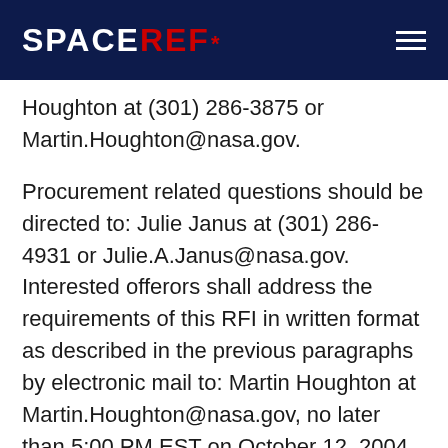SPACEREF*
Houghton at (301) 286-3875 or Martin.Houghton@nasa.gov.
Procurement related questions should be directed to: Julie Janus at (301) 286-4931 or Julie.A.Janus@nasa.gov. Interested offerors shall address the requirements of this RFI in written format as described in the previous paragraphs by electronic mail to: Martin Houghton at Martin.Houghton@nasa.gov, no later than 5:00 PM EST on October 12, 2004. An ombudsman has been appointed — See NASA Specific Note “B”. The solicitation and